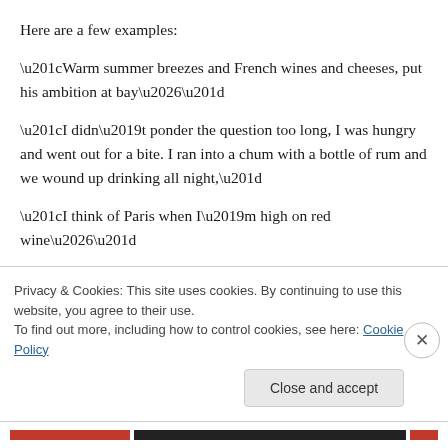Here are a few examples:
“Warm summer breezes and French wines and cheeses, put his ambition at bay…”
“I didn’t ponder the question too long, I was hungry and went out for a bite. I ran into a chum with a bottle of rum and we wound up drinking all night,”
“I think of Paris when I’m high on red wine…”
“…a big Kosher pickle and a cold draft beer well good God
Privacy & Cookies: This site uses cookies. By continuing to use this website, you agree to their use.
To find out more, including how to control cookies, see here: Cookie Policy
Close and accept